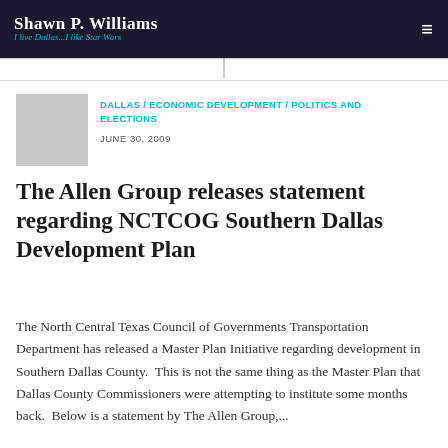Shawn P. Williams — I live Dallas...I like Star Wars
DALLAS / ECONOMIC DEVELOPMENT / POLITICS AND ELECTIONS
JUNE 30, 2009
The Allen Group releases statement regarding NCTCOG Southern Dallas Development Plan
The North Central Texas Council of Governments Transportation Department has released a Master Plan Initiative regarding development in Southern Dallas County.  This is not the same thing as the Master Plan that Dallas County Commissioners were attempting to institute some months back.  Below is a statement by The Allen Group,...